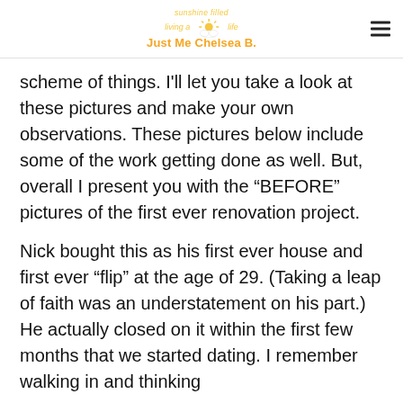Sunshine filled living a life Just Me Chelsea B.
scheme of things. I'll let you take a look at these pictures and make your own observations. These pictures below include some of the work getting done as well. But, overall I present you with the "BEFORE" pictures of the first ever renovation project.
Nick bought this as his first ever house and first ever "flip" at the age of 29. (Taking a leap of faith was an understatement on his part.) He actually closed on it within the first few months that we started dating. I remember walking in and thinking